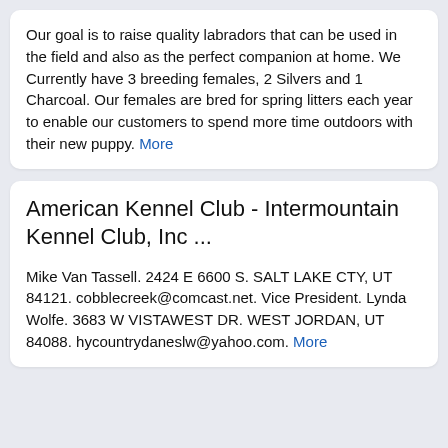Our goal is to raise quality labradors that can be used in the field and also as the perfect companion at home. We Currently have 3 breeding females, 2 Silvers and 1 Charcoal. Our females are bred for spring litters each year to enable our customers to spend more time outdoors with their new puppy. More
American Kennel Club - Intermountain Kennel Club, Inc ...
Mike Van Tassell. 2424 E 6600 S. SALT LAKE CTY, UT 84121. cobblecreek@comcast.net. Vice President. Lynda Wolfe. 3683 W VISTAWEST DR. WEST JORDAN, UT 84088. hycountrydaneslw@yahoo.com. More